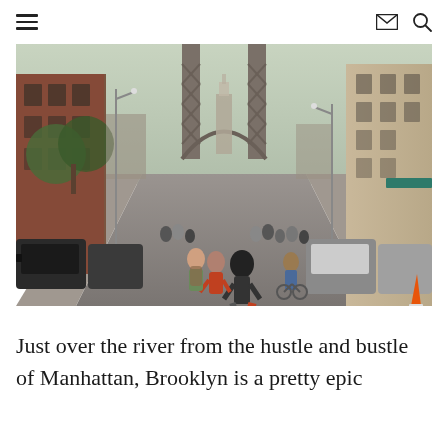≡  ✉  🔍
[Figure (photo): Street-level photo of DUMBO, Brooklyn, looking up Washington Street toward the Manhattan Bridge arch, with crowds of pedestrians, parked cars, and a view of a skyscraper framed through the bridge arch. Buildings line both sides of the cobblestone street, with green trees on the left and teal awnings on the right.]
Just over the river from the hustle and bustle of Manhattan, Brooklyn is a pretty epic